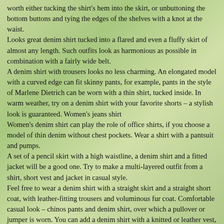worth either tucking the shirt's hem into the skirt, or unbuttoning the bottom buttons and tying the edges of the shelves with a knot at the waist.
Looks great denim shirt tucked into a flared and even a fluffy skirt of almost any length. Such outfits look as harmonious as possible in combination with a fairly wide belt.
A denim shirt with trousers looks no less charming. An elongated model with a curved edge can fit skinny pants, for example, pants in the style of Marlene Dietrich can be worn with a thin shirt, tucked inside. In warm weather, try on a denim shirt with your favorite shorts – a stylish look is guaranteed. Women's jeans shirt
Women's denim shirt can play the role of office shirts, if you choose a model of thin denim without chest pockets. Wear a shirt with a pantsuit and pumps.
A set of a pencil skirt with a high waistline, a denim shirt and a fitted jacket will be a good one. Try to make a multi-layered outfit from a shirt, short vest and jacket in casual style.
Feel free to wear a denim shirt with a straight skirt and a straight short coat, with leather-fitting trousers and voluminous fur coat. Comfortable casual look – chinos pants and denim shirt, over which a pullover or jumper is worn. You can add a denim shirt with a knitted or leather vest, a light or volumetric cardigan.
Here, elongated denim models are more com... but lightweight shirts may also be appropriate. It is very comfortable to wear a denim shirt with a sheath